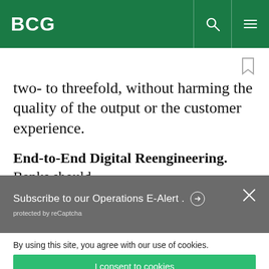BCG
two- to threefold, without harming the quality of the output or the customer experience.
End-to-End Digital Reengineering. Banks should
Subscribe to our Operations E-Alert.
protected by reCaptcha
By using this site, you agree with our use of cookies.
I consent to cookies
Want to know more?
Read our Cookie Policy